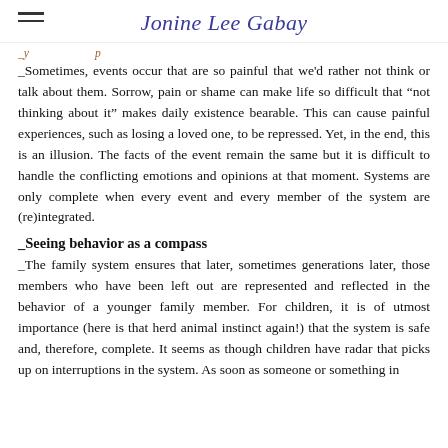Jonine Lee Gabay
Sometimes, events occur that are so painful that we'd rather not think or talk about them. Sorrow, pain or shame can make life so difficult that “not thinking about it” makes daily existence bearable. This can cause painful experiences, such as losing a loved one, to be repressed. Yet, in the end, this is an illusion. The facts of the event remain the same but it is difficult to handle the conflicting emotions and opinions at that moment. Systems are only complete when every event and every member of the system are (re)integrated.
Seeing behavior as a compass
The family system ensures that later, sometimes generations later, those members who have been left out are represented and reflected in the behavior of a younger family member. For children, it is of utmost importance (here is that herd animal instinct again!) that the system is safe and, therefore, complete. It seems as though children have radar that picks up on interruptions in the system. As soon as someone or something in